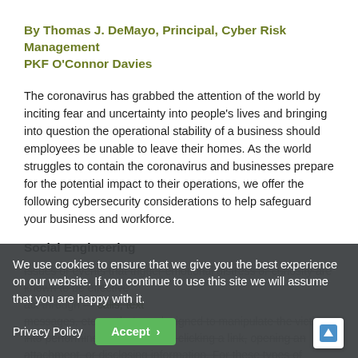By Thomas J. DeMayo, Principal, Cyber Risk Management PKF O'Connor Davies
The coronavirus has grabbed the attention of the world by inciting fear and uncertainty into people's lives and bringing into question the operational stability of a business should employees be unable to leave their homes. As the world struggles to contain the coronavirus and businesses prepare for the potential impact to their operations, we offer the following cybersecurity considerations to help safeguard your business and workforce.
Social Engineering
Issues or events that trigger emotional distress or curiosity are known to be exploited by criminals to craft effective emotional lures — via phone calls, text messages, etc. — that are designed to manipulate the victim into performing an action, e.g., clicking a link, opening an attachment, or disclosing information. For these types of
We use cookies to ensure that we give you the best experience on our website. If you continue to use this site we will assume that you are happy with it.